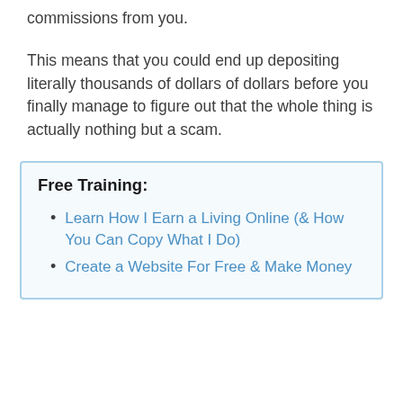commissions from you.
This means that you could end up depositing literally thousands of dollars of dollars before you finally manage to figure out that the whole thing is actually nothing but a scam.
Free Training:
Learn How I Earn a Living Online (& How You Can Copy What I Do)
Create a Website For Free & Make Money